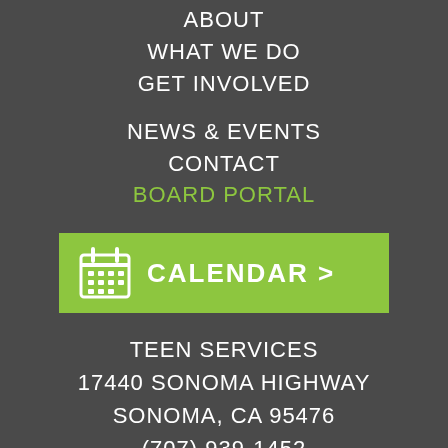ABOUT
WHAT WE DO
GET INVOLVED
NEWS & EVENTS
CONTACT
BOARD PORTAL
[Figure (infographic): Green calendar button with calendar icon and text CALENDAR >]
TEEN SERVICES
17440 SONOMA HIGHWAY
SONOMA, CA 95476
(707) 939-1452